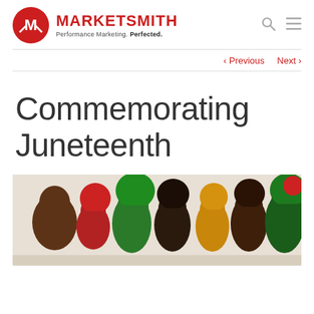MARKETSMITH — Performance Marketing. Perfected.
< Previous   Next >
Commemorating Juneteenth
[Figure (illustration): Colorful silhouette illustration of a group of people with diverse hairstyles facing in profile, in red, green, gold, dark brown and black colors on a beige background, representing Juneteenth commemoration.]